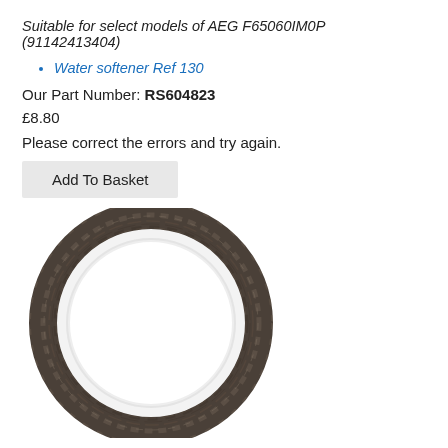Suitable for select models of AEG F65060IM0P (91142413404)
Water softener Ref 130
Our Part Number: RS604823
£8.80
Please correct the errors and try again.
[Figure (photo): Photograph of a metal ring/gasket (water softener part RS604823) — a circular metallic O-ring with a dark grey/brown textured surface, viewed from above on a white background.]